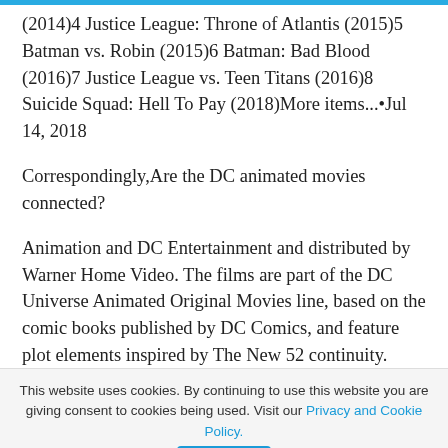(2014)4 Justice League: Throne of Atlantis (2015)5 Batman vs. Robin (2015)6 Batman: Bad Blood (2016)7 Justice League vs. Teen Titans (2016)8 Suicide Squad: Hell To Pay (2018)More items...•Jul 14, 2018
Correspondingly,Are the DC animated movies connected?
Animation and DC Entertainment and distributed by Warner Home Video. The films are part of the DC Universe Animated Original Movies line, based on the comic books published by DC Comics, and feature plot elements inspired by The New 52 continuity.
This website uses cookies. By continuing to use this website you are giving consent to cookies being used. Visit our Privacy and Cookie Policy.